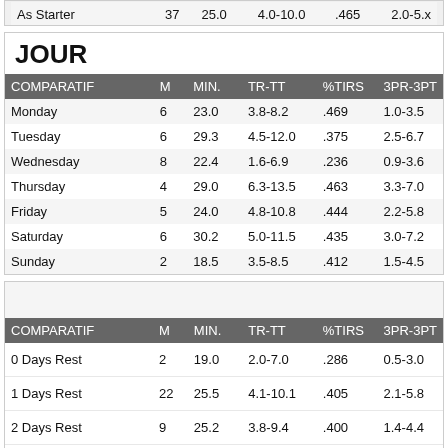| COMPARATIF | M | MIN. | TR-TT | %TIRS | 3PR-3PT |
| --- | --- | --- | --- | --- | --- |
| As Starter | 37 | 25.0 | 4.0-10.0 | .465 | 2.0-5.x |
JOUR
| COMPARATIF | M | MIN. | TR-TT | %TIRS | 3PR-3PT |
| --- | --- | --- | --- | --- | --- |
| Monday | 6 | 23.0 | 3.8-8.2 | .469 | 1.0-3.5 |
| Tuesday | 6 | 29.3 | 4.5-12.0 | .375 | 2.5-6.7 |
| Wednesday | 8 | 22.4 | 1.6-6.9 | .236 | 0.9-3.6 |
| Thursday | 4 | 29.0 | 6.3-13.5 | .463 | 3.3-7.0 |
| Friday | 5 | 24.0 | 4.8-10.8 | .444 | 2.2-5.8 |
| Saturday | 6 | 30.2 | 5.0-11.5 | .435 | 3.0-7.2 |
| Sunday | 2 | 18.5 | 3.5-8.5 | .412 | 1.5-4.5 |
| COMPARATIF | M | MIN. | TR-TT | %TIRS | 3PR-3PT |
| --- | --- | --- | --- | --- | --- |
| 0 Days Rest | 2 | 19.0 | 2.0-7.0 | .286 | 0.5-3.0 |
| 1 Days Rest | 22 | 25.5 | 4.1-10.1 | .405 | 2.1-5.8 |
| 2 Days Rest | 9 | 25.2 | 3.8-9.4 | .400 | 1.4-4.4 |
| 3+ Days Rest | 4 | 30.5 | 5.3-12.3 | .429 | 3.0-6.5 |